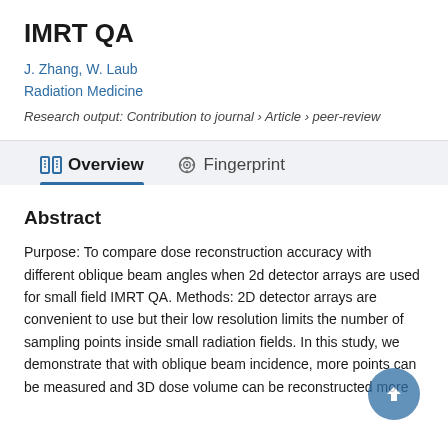IMRT QA
J. Zhang, W. Laub
Radiation Medicine
Research output: Contribution to journal › Article › peer-review
Overview
Fingerprint
Abstract
Purpose: To compare dose reconstruction accuracy with different oblique beam angles when 2d detector arrays are used for small field IMRT QA. Methods: 2D detector arrays are convenient to use but their low resolution limits the number of sampling points inside small radiation fields. In this study, we demonstrate that with oblique beam incidence, more points can be measured and 3D dose volume can be reconstructed more